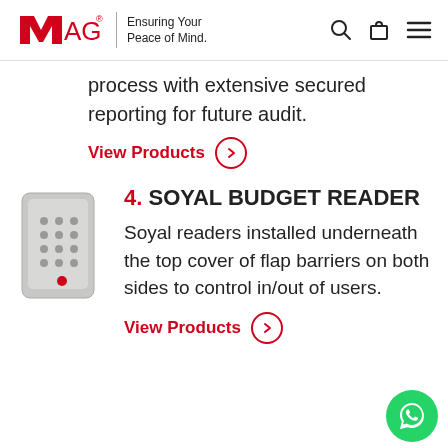MAG® Ensuring Your Peace of Mind.
process with extensive secured reporting for future audit.
View Products
[Figure (photo): Soyal budget reader keypad device, grey colored wall-mount unit with numeric keypad]
4. SOYAL BUDGET READER
Soyal readers installed underneath the top cover of flap barriers on both sides to control in/out of users.
View Products
[Figure (logo): WhatsApp chat button, round green circle with phone icon]